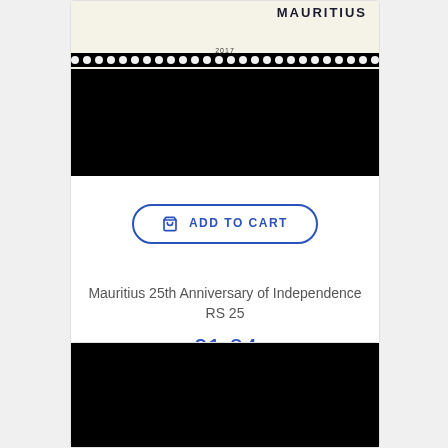[Figure (photo): Mauritius postage stamp showing top portion with MAURITIUS text and year 2017, perforated edge visible, lower portion black]
ADD TO CART
Mauritius 25th Anniversary of Independence RS 25
£1.64
[Figure (photo): Partial view of another postage stamp, mostly black background]